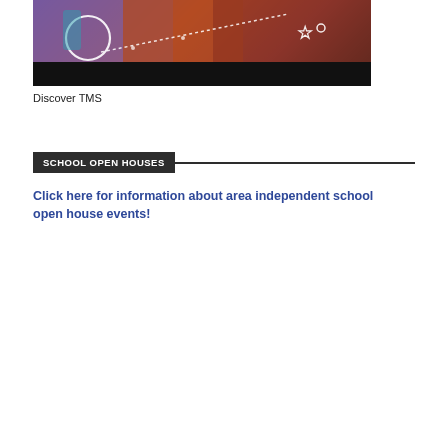[Figure (photo): Child in classroom with colored pencils, overlay of white hand-drawn doodles (circle, star, dots) on a dark banner background]
Discover TMS
SCHOOL OPEN HOUSES
Click here for information about area independent school open house events!